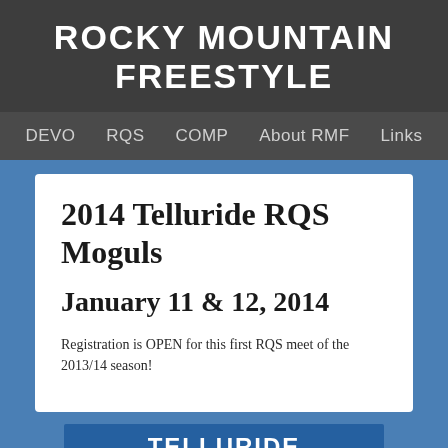ROCKY MOUNTAIN FREESTYLE
DEVO  RQS  COMP  About RMF  Links
2014 Telluride RQS Moguls
January 11 & 12, 2014
Registration is OPEN for this first RQS meet of the 2013/14 season!
[Figure (other): Telluride Qualifier banner/logo with blue background and white bold text reading TELLURIDE QUALIFIER]